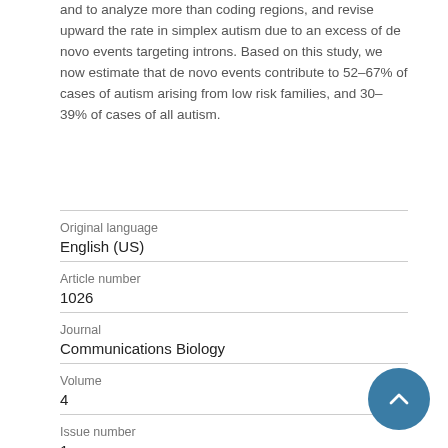and to analyze more than coding regions, and revise upward the rate in simplex autism due to an excess of de novo events targeting introns. Based on this study, we now estimate that de novo events contribute to 52–67% of cases of autism arising from low risk families, and 30–39% of cases of all autism.
| Field | Value |
| --- | --- |
| Original language | English (US) |
| Article number | 1026 |
| Journal | Communications Biology |
| Volume | 4 |
| Issue number | 1 |
| State | Published by Dec 2021 |